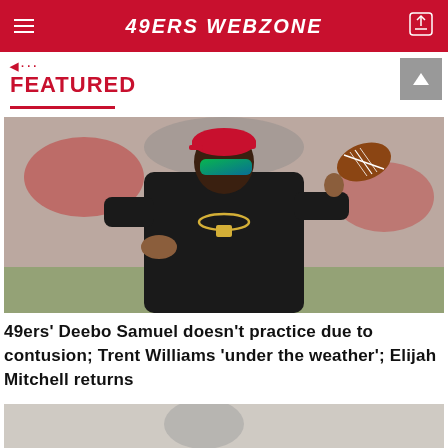49ERS WEBZONE
FEATURED
[Figure (photo): NFL player Deebo Samuel spinning a football on his finger during warmups, wearing black 49ers gear, red cap, and green reflective sunglasses, with stadium crowd in background]
49ers' Deebo Samuel doesn't practice due to contusion; Trent Williams 'under the weather'; Elijah Mitchell returns
[Figure (photo): Partial view of another article's featured image, cropped at bottom of page]